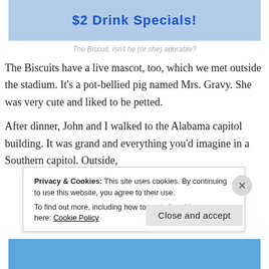[Figure (photo): Image showing '$2 Drink Specials!' text on a blue banner with mascot character]
The Biscuit. Isn't he (or she) adorable?
The Biscuits have a live mascot, too, which we met outside the stadium. It's a pot-bellied pig named Mrs. Gravy. She was very cute and liked to be petted.
After dinner, John and I walked to the Alabama capitol building. It was grand and everything you'd imagine in a Southern capitol. Outside,
Privacy & Cookies: This site uses cookies. By continuing to use this website, you agree to their use.
To find out more, including how to control cookies, see here: Cookie Policy
Close and accept